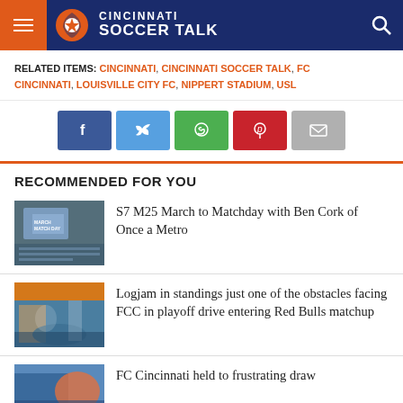Cincinnati Soccer Talk
RELATED ITEMS: CINCINNATI, CINCINNATI SOCCER TALK, FC CINCINNATI, LOUISVILLE CITY FC, NIPPERT STADIUM, USL
[Figure (infographic): Social share buttons: Facebook, Twitter, WhatsApp, Pinterest, Email]
RECOMMENDED FOR YOU
S7 M25 March to Matchday with Ben Cork of Once a Metro
Logjam in standings just one of the obstacles facing FCC in playoff drive entering Red Bulls matchup
FC Cincinnati held to frustrating draw